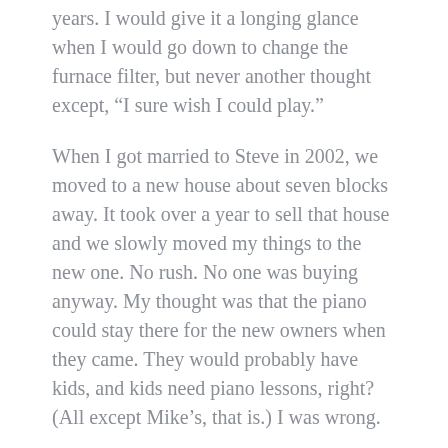years. I would give it a longing glance when I would go down to change the furnace filter, but never another thought except, “I sure wish I could play.”
When I got married to Steve in 2002, we moved to a new house about seven blocks away. It took over a year to sell that house and we slowly moved my things to the new one. No rush. No one was buying anyway. My thought was that the piano could stay there for the new owners when they came. They would probably have kids, and kids need piano lessons, right? (All except Mike’s, that is.) I was wrong.
The house sold thirteen months later and the sales contract clearly indicated that the piano had to go. Still no one wanted to buy it and no one wanted it